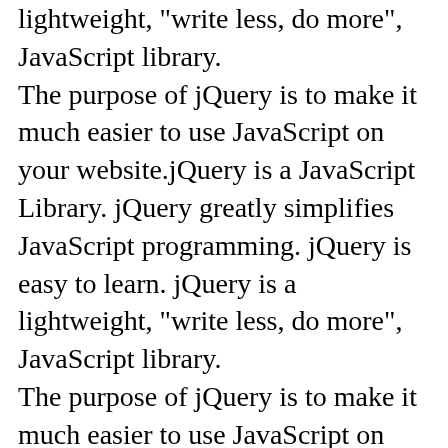lightweight, "write less, do more", JavaScript library. The purpose of jQuery is to make it much easier to use JavaScript on your website.jQuery is a JavaScript Library. jQuery greatly simplifies JavaScript programming. jQuery is easy to learn. jQuery is a lightweight, "write less, do more", JavaScript library. The purpose of jQuery is to make it much easier to use JavaScript on your website. </p> <p>jQuery is a JavaScript Library. jQuery greatly simplifies JavaScript programming. jQuery is easy to learn. jQuery is a lightweight, "write less, do more", JavaScript